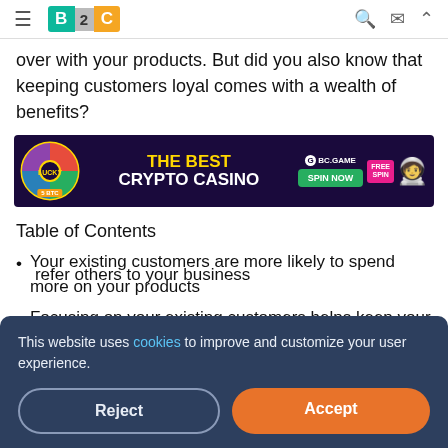B2C navigation bar with hamburger menu, B2C logo, search, mail, and up-arrow icons
over with your products. But did you also know that keeping customers loyal comes with a wealth of benefits?
[Figure (illustration): BC.GAME advertisement banner: THE BEST CRYPTO CASINO with Lucky Spin wheel, 5 BTC prize, SPIN NOW button, FREE SPIN badge, and astronaut character]
Table of Contents
Your existing customers are more likely to spend more on your products
Focusing on your existing customers helps keep your
refer others to your business
This website uses cookies to improve and customize your user experience.